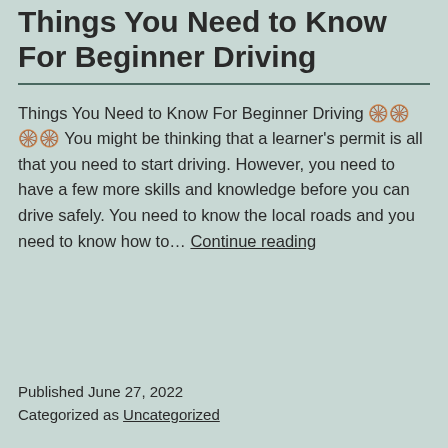Things You Need to Know For Beginner Driving
Things You Need to Know For Beginner Driving 🚗🚗🚗🚗 You might be thinking that a learner's permit is all that you need to start driving. However, you need to have a few more skills and knowledge before you can drive safely. You need to know the local roads and you need to know how to… Continue reading
Published June 27, 2022
Categorized as Uncategorized